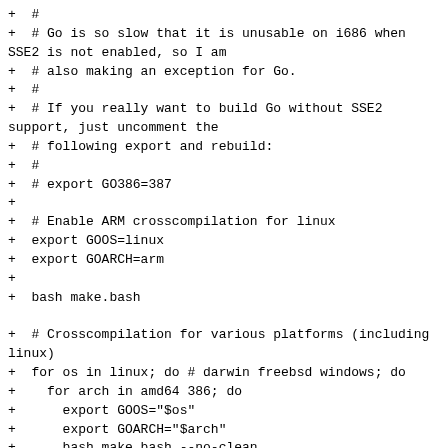+  #
+  # Go is so slow that it is unusable on i686 when SSE2 is not enabled, so I am
+  # also making an exception for Go.
+  #
+  # If you really want to build Go without SSE2 support, just uncomment the
+  # following export and rebuild:
+  #
+  # export GO386=387
+
+  # Enable ARM crosscompilation for linux
+  export GOOS=linux
+  export GOARCH=arm
+
+  bash make.bash
+
+  # Crosscompilation for various platforms (including linux)
+  for os in linux; do # darwin freebsd windows; do
+    for arch in amd64 386; do
+      export GOOS="$os"
+      export GOARCH="$arch"
+      bash make.bash --no-clean
+    done
+  done
+
+  GOOS=linux
+  case "$CARCH" in
+    x86_64) GOARCH=amd64 ;;